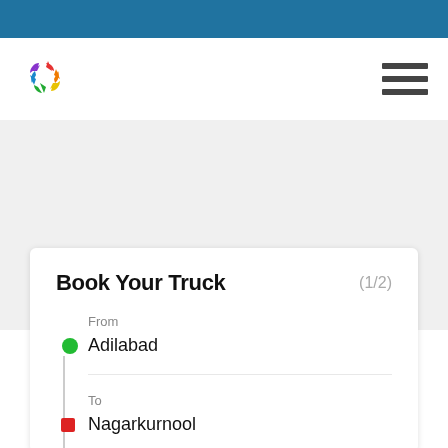[Figure (logo): Colorful pinwheel/star logo icon with red, orange, yellow, green, blue, purple arrows]
Book Your Truck
(1/2)
From
Adilabad
To
Nagarkurnool